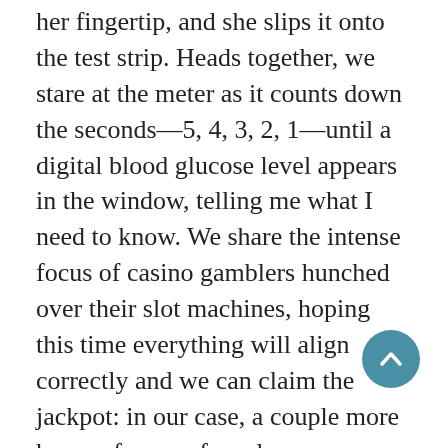her fingertip, and she slips it onto the test strip. Heads together, we stare at the meter as it counts down the seconds—5, 4, 3, 2, 1—until a digital blood glucose level appears in the window, telling me what I need to know. We share the intense focus of casino gamblers hunched over their slot machines, hoping this time everything will align correctly and we can claim the jackpot: in our case, a couple more hours of worry-free sleep.
After the mental gymnastics of figuring out what to do with the information I've read off the meter, and making whatever corrections are necessary to assure a few more hours of crisis-free rest, I struggle back into my lymphedema
[Figure (other): A circular teal/blue scroll-to-top button with an upward-pointing chevron arrow, overlaid on the text in the bottom-right area.]